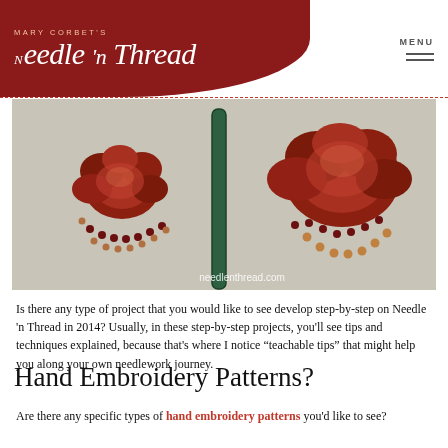MARY CORBET'S Needle 'n Thread | MENU
[Figure (photo): Close-up photo of hand embroidery showing two large red floral/pomegranate motifs with seed beads and a green stem on linen fabric. Watermark reads needlenthread.com]
Is there any type of project that you would like to see develop step-by-step on Needle 'n Thread in 2014? Usually, in these step-by-step projects, you'll see tips and techniques explained, because that's where I notice “teachable tips” that might help you along your own needlework journey.
Hand Embroidery Patterns?
Are there any specific types of hand embroidery patterns you’d like to see?